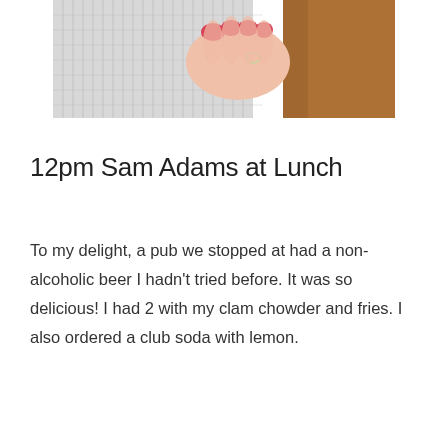[Figure (photo): A photo of a person's hand with red nails holding something, wearing a checkered shirt, with a wooden surface in the background.]
12pm Sam Adams at Lunch
To my delight, a pub we stopped at had a non-alcoholic beer I hadn't tried before. It was so delicious! I had 2 with my clam chowder and fries. I also ordered a club soda with lemon.